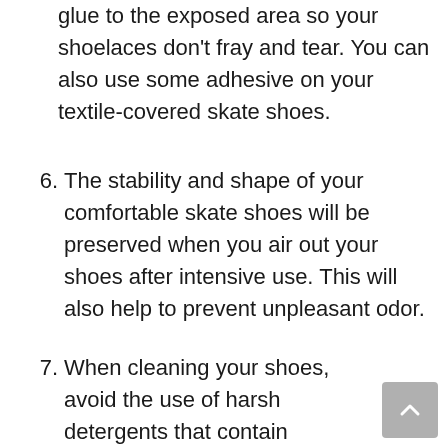glue to the exposed area so your shoelaces don't fray and tear. You can also use some adhesive on your textile-covered skate shoes.
6. The stability and shape of your comfortable skate shoes will be preserved when you air out your shoes after intensive use. This will also help to prevent unpleasant odor.
7. When cleaning your shoes, avoid the use of harsh detergents that contain